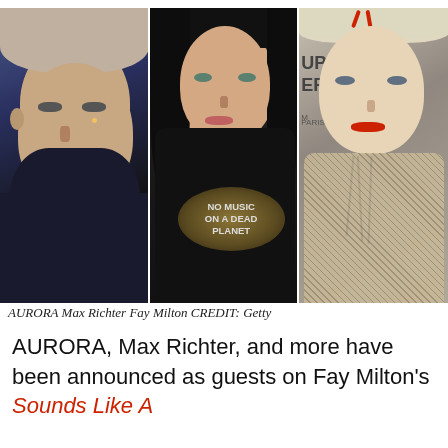[Figure (photo): Three-panel photo strip showing (left to right): Max Richter, a man in dark shirt at a conference; Fay Milton, a woman in a 'No Music On A Dead Planet' t-shirt; AURORA, a woman with blonde hair and red hair accessories wearing a patterned jacket. Credit: Getty.]
AURORA Max Richter Fay Milton CREDIT: Getty
AURORA, Max Richter, and more have been announced as guests on Fay Milton's Sounds Like A